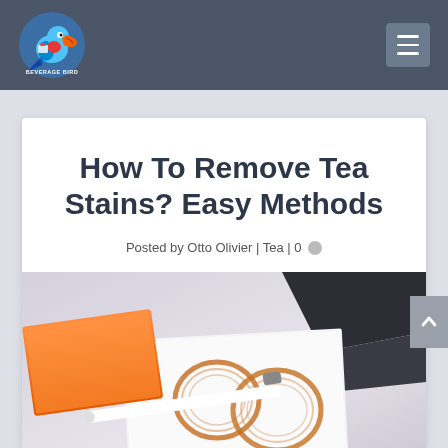[Figure (logo): Beverage Bird logo - colorful bird/toucan with text BEVERAGE BIRD in the navigation bar]
How To Remove Tea Stains? Easy Methods
Posted by Otto Olivier | Tea | 0
[Figure (photo): Photo showing tea stains (ring marks) on white paper/surface with an orange book and white pen visible]